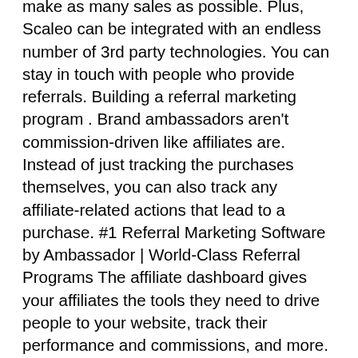make as many sales as possible. Plus, Scaleo can be integrated with an endless number of 3rd party technologies. You can stay in touch with people who provide referrals. Building a referral marketing program . Brand ambassadors aren't commission-driven like affiliates are. Instead of just tracking the purchases themselves, you can also track any affiliate-related actions that lead to a purchase. #1 Referral Marketing Software by Ambassador | World-Class Referral Programs The affiliate dashboard gives your affiliates the tools they need to drive people to your website, track their performance and commissions, and more. Tesla offers a unique product – an electric car. Run a referral or affiliate program that is easy to share and track referrals. Integrate with platforms like CAKE and TUNE to create a full affiliate management solution, Your customers are already recommending your business to their friends, You'd like to encourage customers to share your business with their peers. Uber. Depending on your business and program, there will be one affiliate software tool perfect for your needs. All rights reserved. The software for referral marketing works natively with vital services belonging to the function of email marketing. ... tracks referrals via … Try free for 14 days! Affiliate programs are